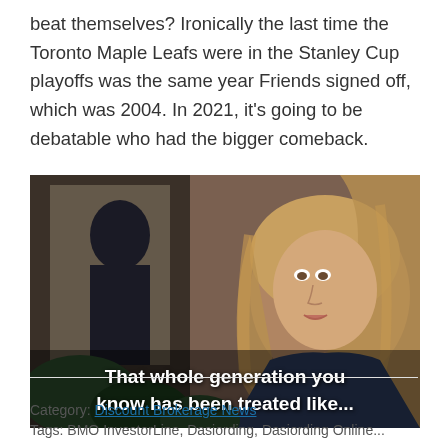beat themselves? Ironically the last time the Toronto Maple Leafs were in the Stanley Cup playoffs was the same year Friends signed off, which was 2004. In 2021, it's going to be debatable who had the bigger comeback.
[Figure (photo): A woman with long blonde wavy hair looking upward, with a man in dark clothing visible in the background. Subtitle text at bottom reads: 'That whole generation you know has been treated like...']
Category: Discount Brokerage News
Tags: BMO InvestorLine, Dasiording, Dasiording Online...